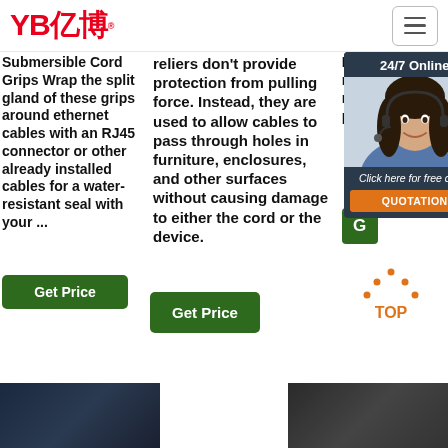[Figure (logo): YB亿博 logo in red with registered trademark symbol and hamburger menu icon]
Submersible Cord Grips Wrap the split gland of these grips around ethernet cables with an RJ45 connector or other already installed cables for a water-resistant seal with your ...
reliers don't provide protection from pulling force. Instead, they are used to allow cables to pass through holes in furniture, enclosures, and other surfaces without causing damage to either the cord or the device.
Made of rubber, it res bet tri pro of .
[Figure (screenshot): 24/7 Online chat popup with customer service representative photo, 'Click here for free chat!' text, and QUOTATION button]
[Figure (illustration): Get Price green button for column 1]
[Figure (illustration): Get Price green button for column 2]
[Figure (illustration): TOP navigation button with orange dot triangle icon]
[Figure (photo): Dark blue product photo strip on bottom left]
[Figure (photo): Dark product photo strip on bottom right]